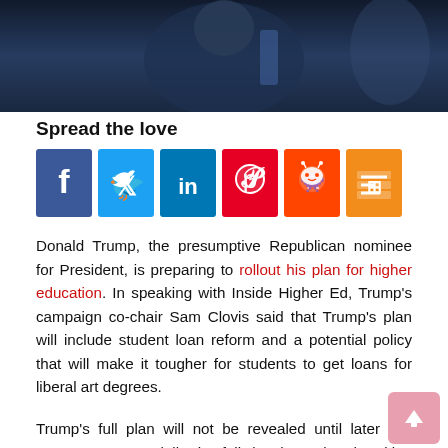[Figure (photo): Partial photo of a person at a podium or event, dark background with blue tones]
Spread the love
[Figure (infographic): Social media share buttons: Facebook (blue), Twitter (light blue), LinkedIn (dark blue), Pinterest (red), Reddit (orange-red), Mix (orange)]
Donald Trump, the presumptive Republican nominee for President, is preparing to rollout his plan for higher education. In speaking with Inside Higher Ed, Trump's campaign co-chair Sam Clovis said that Trump's plan will include student loan reform and a potential policy that will make it tougher for students to get loans for liberal art degrees.
Trump's full plan will not be revealed until later this summer or potentially the fall, but he's already taking hard lines against Hillary Clinton, and Bernie Sanders' plan to make public college free.
Clovis said that free college isn't attainable because the country